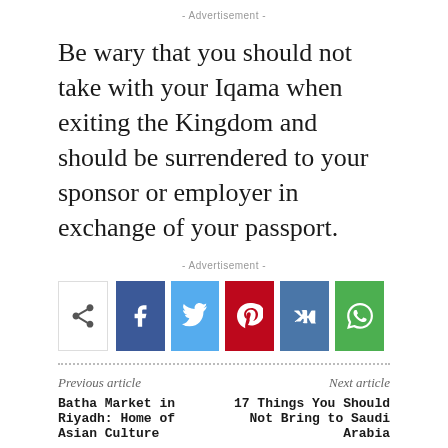- Advertisement -
Be wary that you should not take with your Iqama when exiting the Kingdom and should be surrendered to your sponsor or employer in exchange of your passport.
- Advertisement -
[Figure (other): Social share buttons: share icon, Facebook, Twitter, Pinterest, VK, WhatsApp]
Previous article
Batha Market in Riyadh: Home of Asian Culture
Next article
17 Things You Should Not Bring to Saudi Arabia